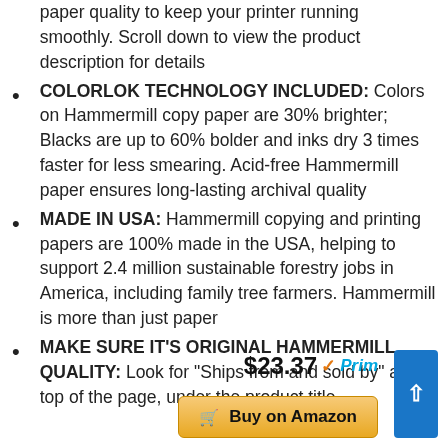paper quality to keep your printer running smoothly. Scroll down to view the product description for details
COLORLOK TECHNOLOGY INCLUDED: Colors on Hammermill copy paper are 30% brighter; Blacks are up to 60% bolder and inks dry 3 times faster for less smearing. Acid-free Hammermill paper ensures long-lasting archival quality
MADE IN USA: Hammermill copying and printing papers are 100% made in the USA, helping to support 2.4 million sustainable forestry jobs in America, including family tree farmers. Hammermill is more than just paper
MAKE SURE IT’S ORIGINAL HAMMERMILL QUALITY: Look for “Ships from and sold by” at the top of the page, under the product title
$23.37
Buy on Amazon